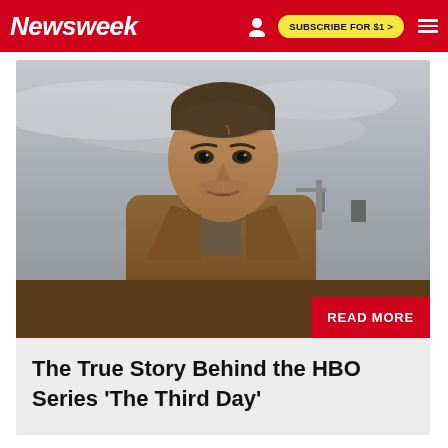Newsweek | SUBSCRIBE FOR $1 >
[Figure (photo): A man with a weathered appearance, wearing a brown jacket, looking intensely at the camera. Outdoor background with overcast sky.]
The True Story Behind the HBO Series 'The Third Day'